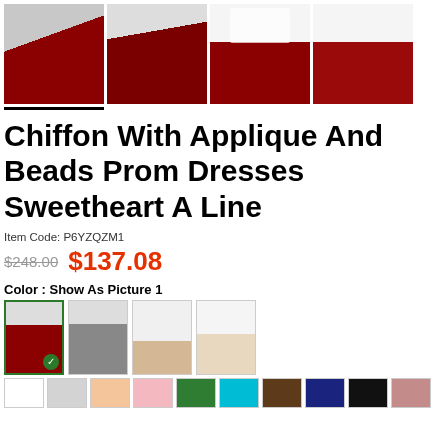[Figure (photo): Four product thumbnail images of a chiffon prom dress with white bodice and dark red/burgundy skirt, shown from various angles. The first thumbnail is underlined.]
Chiffon With Applique And Beads Prom Dresses Sweetheart A Line
Item Code: P6YZQZM1
$248.00  $137.08
Color : Show As Picture 1
[Figure (photo): Four color variant thumbnails of the dress. First thumbnail (dark red/burgundy) is selected with a green checkmark. Others show gray and neutral variants.]
[Figure (photo): Row of fabric color swatches: white, light gray, peach, pink, green, cyan, brown, navy, black, dusty rose.]